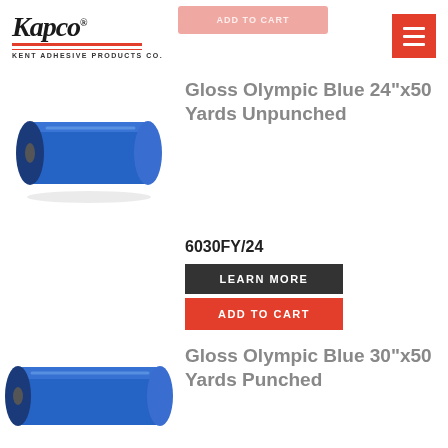[Figure (logo): Kapco (Kent Adhesive Products Co.) logo with red underlines]
[Figure (illustration): Blue vinyl roll product image - Gloss Olympic Blue 24"x50 Yards Unpunched]
Gloss Olympic Blue 24"x50 Yards Unpunched
6030FY/24
LEARN MORE
ADD TO CART
Gloss Olympic Blue 30"x50 Yards Punched
[Figure (illustration): Blue vinyl roll product image - Gloss Olympic Blue 30"x50 Yards Punched]